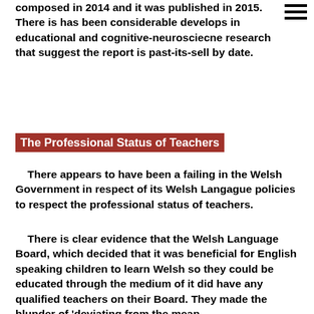composed in 2014 and it was published in 2015. There is has been considerable develops in educational and cognitive-neurosciecne research that suggest the report is past-its-sell by date.
The Professional Status of Teachers
There appears to have been a failing in the Welsh Government in respect of its Welsh Langague policies to respect the professional status of teachers.
There is clear evidence that the Welsh Language Board, which decided that it was beneficial for English speaking children to learn Welsh so they could be educated through the medium of it did have any qualified teachers on their Board. They made the blunder of 'deviating from the mean..